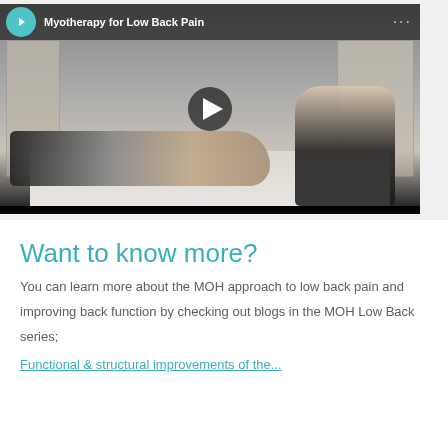[Figure (screenshot): YouTube video thumbnail titled 'Myotherapy for Low Back Pain' showing a therapist treating a patient lying on a massage table, with anatomical charts visible in the background. A play button is overlaid in the center.]
Want to know more?
You can learn more about the MOH approach to low back pain and improving back function by checking out blogs in the MOH Low Back series;